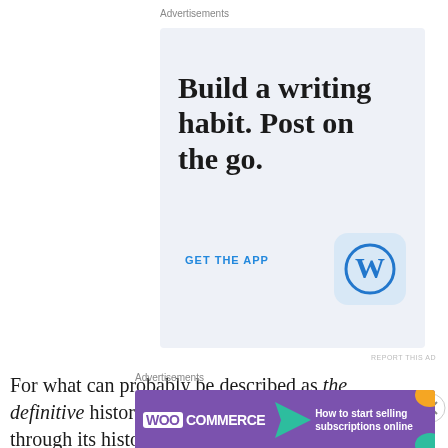Advertisements
[Figure (screenshot): WordPress mobile app advertisement with light blue background. Large serif text reads 'Build a writing habit. Post on the go.' with a 'GET THE APP' call-to-action link in blue and a WordPress logo icon.]
REPORT THIS AD
For what can probably be described as the definitive history of Kabul take your time and go through its history at Adam Curtis' blog at the BBC.
Advertisements
[Figure (screenshot): WooCommerce advertisement with purple background showing WooCommerce logo and text 'How to start selling subscriptions online' with orange and teal graphic elements.]